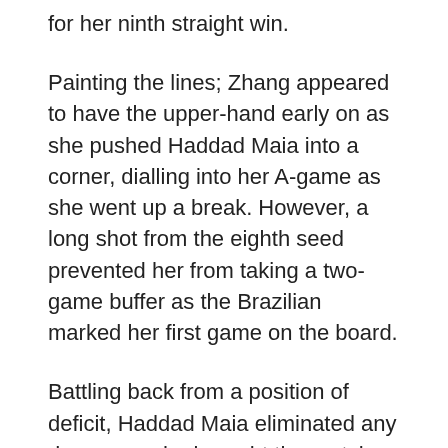for her ninth straight win.
Painting the lines; Zhang appeared to have the upper-hand early on as she pushed Haddad Maia into a corner, dialling into her A-game as she went up a break. However, a long shot from the eighth seed prevented her from taking a two-game buffer as the Brazilian marked her first game on the board.
Battling back from a position of deficit, Haddad Maia eliminated any danger as she brought the match back to parity before a shot that drifted wide from Zhang gave Haddad Maia back the...